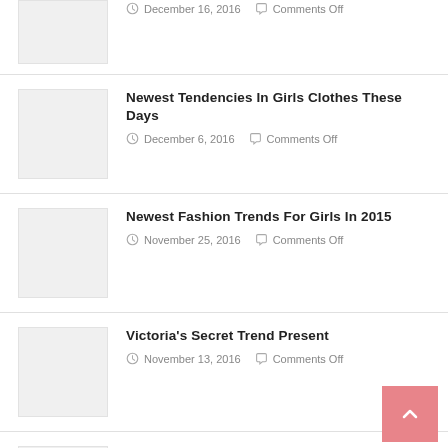Newest Tendencies In Girls Clothes These Days — December 6, 2016 — Comments Off
Newest Fashion Trends For Girls In 2015 — November 25, 2016 — Comments Off
Victoria's Secret Trend Present — November 13, 2016 — Comments Off
Vogue Designer John Rocha — November 4, 2016 — Comments Off